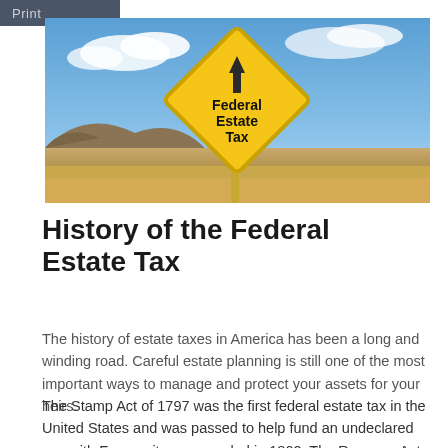Print
[Figure (photo): Yellow diamond-shaped road sign reading 'Federal Estate Tax' with an upward arrow, set against a blue sky with desert landscape in background]
History of the Federal Estate Tax
The history of estate taxes in America has been a long and winding road. Careful estate planning is still one of the most important ways to manage and protect your assets for your heirs.
The Stamp Act of 1797 was the first federal estate tax in the United States and was passed to help fund an undeclared war with France; it was repealed in 1802. The Revenue Act of 1862 reinstated the estate tax in